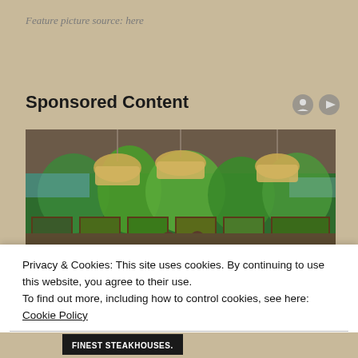Feature picture source: here
Sponsored Content
[Figure (photo): Interior of an upscale restaurant with colorful painted murals of trees and nature on the walls, pendant lamps, leather seating, and two staff members standing by the tables.]
Privacy & Cookies: This site uses cookies. By continuing to use this website, you agree to their use.
To find out more, including how to control cookies, see here: Cookie Policy
Close and accept
finest steakhouses.